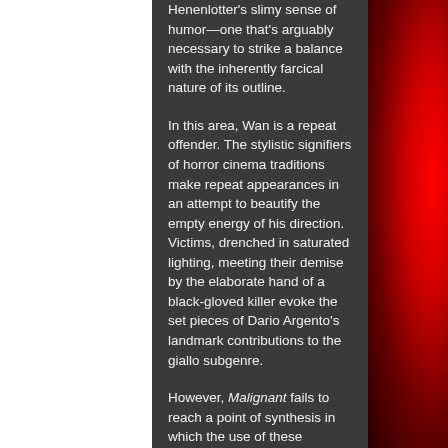Henenlotter's slimy sense of humor—one that's arguably necessary to strike a balance with the inherently farcical nature of its outline.
In this area, Wan is a repeat offender. The stylistic signifiers of horror cinema traditions make repeat appearances in an attempt to beautify the empty energy of his direction. Victims, drenched in saturated lighting, meeting their demise by the elaborate hand of a black-gloved killer evoke the set pieces of Dario Argento's landmark contributions to the giallo subgenre.
However, Malignant fails to reach a point of synthesis in which the use of these aesthetics inspires the heightened and fantastical tone of a